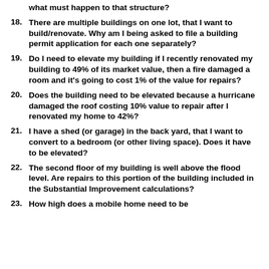what must happen to that structure?
18. There are multiple buildings on one lot, that I want to build/renovate. Why am I being asked to file a building permit application for each one separately?
19. Do I need to elevate my building if I recently renovated my building to 49% of its market value, then a fire damaged a room and it's going to cost 1% of the value for repairs?
20. Does the building need to be elevated because a hurricane damaged the roof costing 10% value to repair after I renovated my home to 42%?
21. I have a shed (or garage) in the back yard, that I want to convert to a bedroom (or other living space). Does it have to be elevated?
22. The second floor of my building is well above the flood level. Are repairs to this portion of the building included in the Substantial Improvement calculations?
23. How high does a mobile home need to be